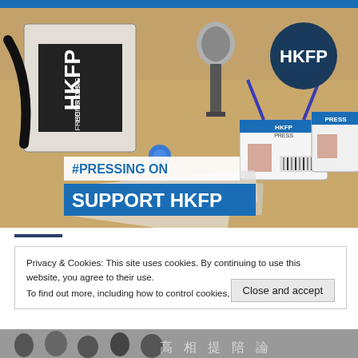[Figure (photo): HKFP (Hong Kong Free Press) branded banner image showing press ID cards, a microphone, and HKFP branded stand on a table. Dark navy circle logo with 'HKFP' text in upper right. Overlaid text: '#PRESSING ON' in blue on white, and 'SUPPORT HKFP' in white on blue banner.]
Privacy & Cookies: This site uses cookies. By continuing to use this website, you agree to their use.
To find out more, including how to control cookies, see here: Cookie Policy
Close and accept
[Figure (photo): Partial view of bottom image strip showing a crowd scene with Chinese text visible.]